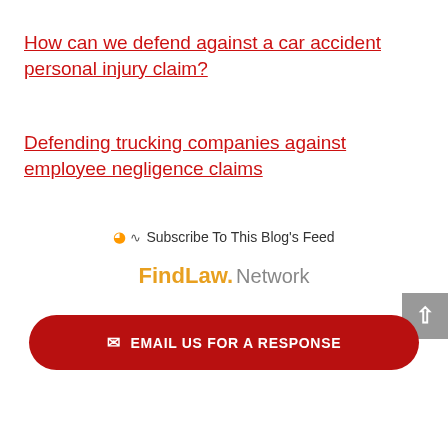How can we defend against a car accident personal injury claim?
Defending trucking companies against employee negligence claims
Subscribe To This Blog's Feed
[Figure (logo): FindLaw Network logo]
EMAIL US FOR A RESPONSE